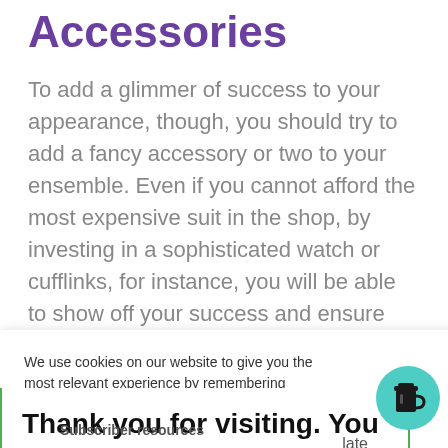Accessories
To add a glimmer of success to your appearance, though, you should try to add a fancy accessory or two to your ensemble. Even if you cannot afford the most expensive suit in the shop, by investing in a sophisticated watch or cufflinks, for instance, you will be able to show off your success and ensure that [obscured] all times. You [obscured] nd take care
We use cookies on our website to give you the most relevant experience by remembering your preferences and repeat visits. By clicking “Accept”, you consent to the use of ALL the cookies.
Thank you for visiting. You can now buy me a coffee!
Subscriber resources